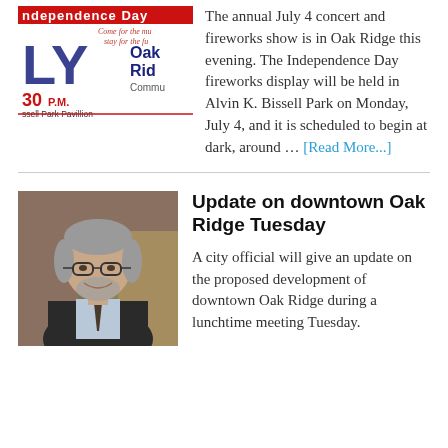[Figure (illustration): Independence Day concert poster showing July 4, 30 P.M., Bissell Park Pavilion, Oak Ridge Community text with italic 'Come for the music, stay for the fun' text]
The annual July 4 concert and fireworks show is in Oak Ridge this evening. The Independence Day fireworks display will be held in Alvin K. Bissell Park on Monday, July 4, and it is scheduled to begin at dark, around … [Read More...]
[Figure (photo): Photo of a middle-aged man with gray hair and beard, wearing glasses and a dark suit jacket with a light blue shirt and patterned tie, smiling]
Update on downtown Oak Ridge Tuesday
A city official will give an update on the proposed development of downtown Oak Ridge during a lunchtime meeting Tuesday.